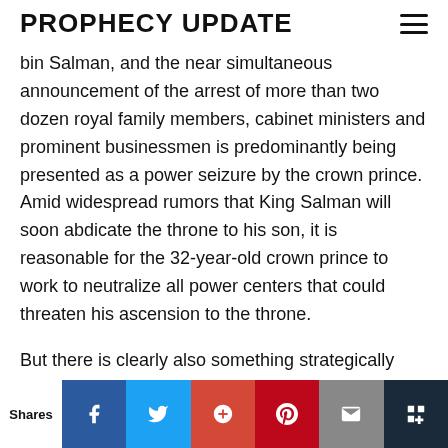PROPHECY UPDATE
bin Salman, and the near simultaneous announcement of the arrest of more than two dozen royal family members, cabinet ministers and prominent businessmen is predominantly being presented as a power seizure by the crown prince. Amid widespread rumors that King Salman will soon abdicate the throne to his son, it is reasonable for the 32-year-old crown prince to work to neutralize all power centers that could threaten his ascension to the throne.
But there is clearly also something strategically more significant going on. While many of the officials arrested over the weekend threaten Mohammed's power, they